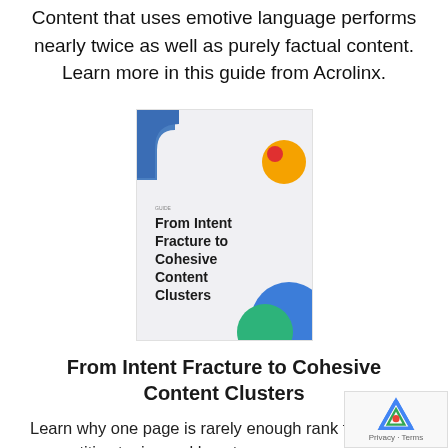Content that uses emotive language performs nearly twice as well as purely factual content. Learn more in this guide from Acrolinx.
[Figure (illustration): Book cover for 'From Intent Fracture to Cohesive Content Clusters' by Acrolinx, showing a light gray background with a blue shape top-left, an orange/yellow circle top-right, and overlapping blue and green circles bottom-right.]
From Intent Fracture to Cohesive Content Clusters
Learn why one page is rarely enough to rank for competitive topics and how to